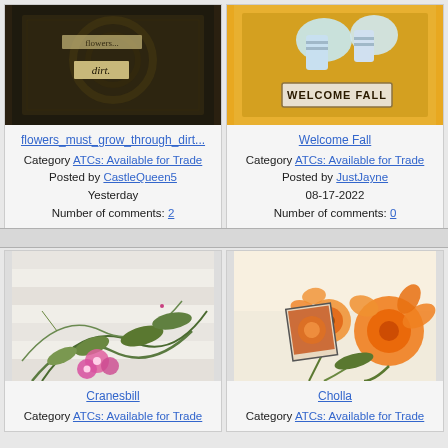[Figure (photo): ATC artwork showing dark textured background with the word 'dirt' in a label]
flowers_must_grow_through_dirt...
Category ATCs: Available for Trade
Posted by CastleQueen5
Yesterday
Number of comments: 2
[Figure (photo): ATC artwork with yellow/orange background showing feet and a sign reading 'WELCOME FALL']
Welcome Fall
Category ATCs: Available for Trade
Posted by JustJayne
08-17-2022
Number of comments: 0
[Figure (photo): ATC artwork showing a botanical illustration of cranesbill plant with pink flowers on white/grey striped background]
Cranesbill
Category ATCs: Available for Trade
[Figure (photo): ATC artwork showing orange California poppies (Cholla) with a small inset photo]
Cholla
Category ATCs: Available for Trade